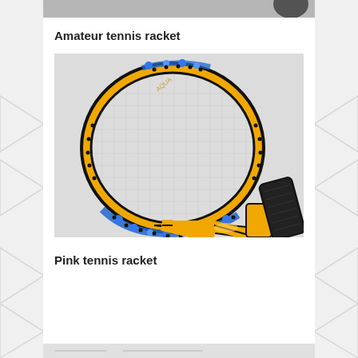[Figure (photo): Partial view of a tennis ball or racket from the top, cropped image strip at the top of the page]
Amateur tennis racket
[Figure (photo): Yellow and black amateur tennis racket with blue splash design on the frame and white string mesh, dark handle grip, shown against a light grey background]
Pink tennis racket